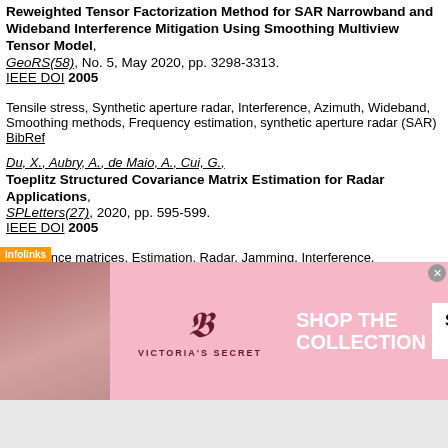Reweighted Tensor Factorization Method for SAR Narrowband and Wideband Interference Mitigation Using Smoothing Multiview Tensor Model, GeoRS(58), No. 5, May 2020, pp. 3298-3313. IEEE DOI 2005 Tensile stress, Synthetic aperture radar, Interference, Azimuth, Wideband, Smoothing methods, Frequency estimation, synthetic aperture radar (SAR) BibRef
Du, X., Aubry, A., de Maio, A., Cui, G., Toeplitz Structured Covariance Matrix Estimation for Radar Applications, SPLetters(27), 2020, pp. 595-599. IEEE DOI 2005 Covariance matrices, Estimation, Radar, Jamming, Interference, Optimization, Linear matrix inequalities, Toeplitz structure BibRef
Pan, Z.[Zesi], Wang, S.F.[Sha-Fei], Zhu, M.T.[Meng-Tao], Li, ...[Jie]
[Figure (photo): Advertisement banner for Victoria's Secret showing a model, the Victoria's Secret logo, text 'SHOP THE COLLECTION', and a 'SHOP NOW' button on a pink background.]